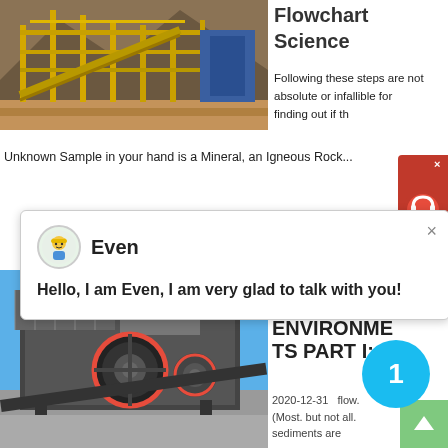[Figure (photo): Industrial mining facility with yellow machinery, conveyors, and blue equipment against a mountainous background.]
Flowchart Science
Following these steps are not absolute or infallible for finding out if the Unknown Sample in your hand is a Mineral, an Igneous Rock...
[Figure (screenshot): Chat popup with avatar of a support agent named 'Even' with message: Hello, I am Even, I am very glad to talk with you!]
[Figure (photo): Industrial crusher/screening machine on outdoor site with clear blue sky background.]
Chapter 10 DEPOSITIONAL ENVIRONMENTS PART I:
2020-12-31   flow. (Most. but not all. sediments are